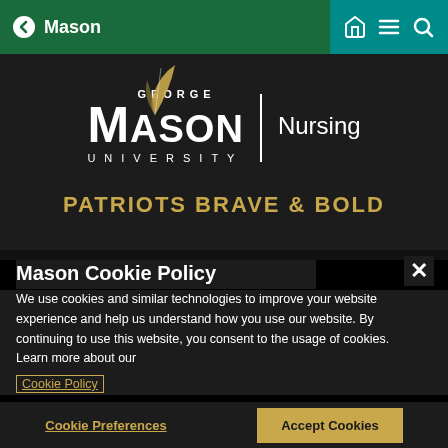Mason
[Figure (logo): George Mason University Nursing logo with feather quill graphic, white text on dark background, with PATRIOTS BRAVE & BOLD in gold]
Mason Cookie Policy
We use cookies and similar technologies to improve your website experience and help us understand how you use our website. By continuing to use this website, you consent to the usage of cookies. Learn more about our Cookie Policy
Cookie Preferences
Accept Cookies